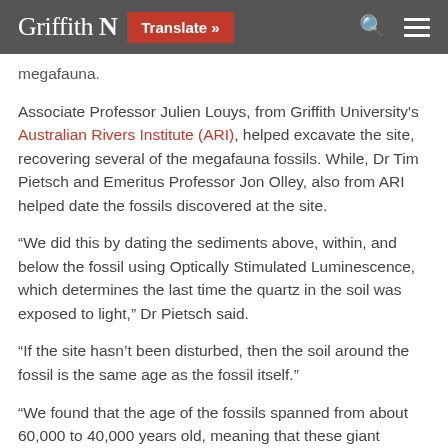Griffith N  Translate »
megafauna.
Associate Professor Julien Louys, from Griffith University's Australian Rivers Institute (ARI), helped excavate the site, recovering several of the megafauna fossils. While, Dr Tim Pietsch and Emeritus Professor Jon Olley, also from ARI helped date the fossils discovered at the site.
“We did this by dating the sediments above, within, and below the fossil using Optically Stimulated Luminescence, which determines the last time the quartz in the soil was exposed to light,” Dr Pietsch said.
“If the site hasn’t been disturbed, then the soil around the fossil is the same age as the fossil itself.”
“We found that the age of the fossils spanned from about 60,000 to 40,000 years old, meaning that these giant